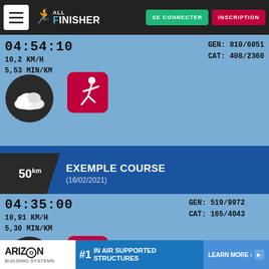ALL FINISHER — SE CONNECTER | INSCRIPTION
04:54:10  10,2 KM/H  GEN: 810/6051
5,53 MIN/KM  CAT: 408/2360
[Figure (screenshot): Weather icon showing clouds (overcast)]
[Figure (screenshot): Running figure icon on red/pink background]
EXEMPLE COURSE (16/02/2021) — 50km
04:35:00  10,91 KM/H  GEN: 519/9972
5,30 MIN/KM  CAT: 165/4043
[Figure (screenshot): Weather icon showing sun with clouds and rain]
[Figure (screenshot): Running figure icon on red/pink background]
[Figure (screenshot): Advertisement banner: ARIZON BUILDING SYSTEMS — #1 IN AIR SUPPORTED STRUCTURES — LEARN MORE]